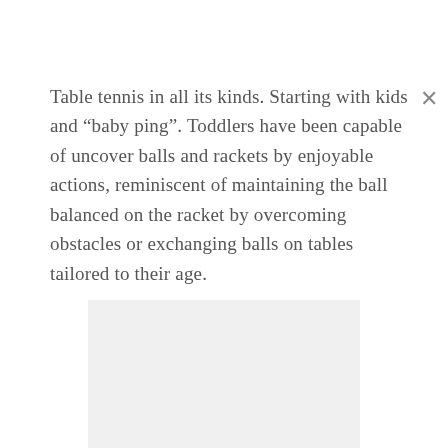Table tennis in all its kinds. Starting with kids and “baby ping”. Toddlers have been capable of uncover balls and rackets by enjoyable actions, reminiscent of maintaining the ball balanced on the racket by overcoming obstacles or exchanging balls on tables tailored to their age.
[Figure (other): Light gray rectangular placeholder image]